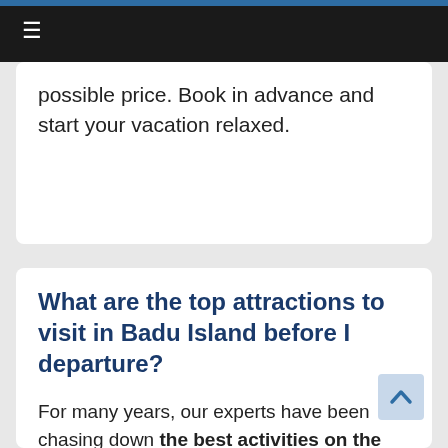≡
possible price. Book in advance and start your vacation relaxed.
What are the top attractions to visit in Badu Island before I departure?
For many years, our experts have been chasing down the best activities on the planet's greatest cities and coolest areas. Every year brings more fresh out of the box attractions, events and things to do around